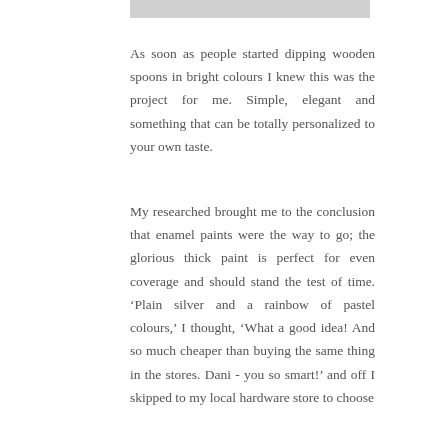[Figure (other): Light grey horizontal bar at the top of the content area]
As soon as people started dipping wooden spoons in bright colours I knew this was the project for me. Simple, elegant and something that can be totally personalized to your own taste.
My researched brought me to the conclusion that enamel paints were the way to go; the glorious thick paint is perfect for even coverage and should stand the test of time. ‘Plain silver and a rainbow of pastel colours,’ I thought, ‘What a good idea! And so much cheaper than buying the same thing in the stores. Dani - you so smart!’ and off I skipped to my local hardware store to choose